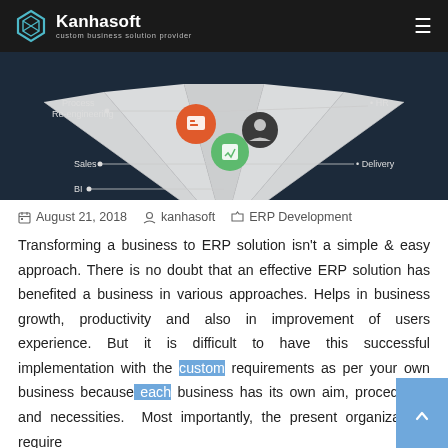Kanhasoft — custom business solution provider
[Figure (infographic): ERP diagram showing Process Re-engineering, Sales, BI on the left and HR, Delivery on the right, with icons in the center on a dark background.]
August 21, 2018   kanhasoft   ERP Development
Transforming a business to ERP solution isn't a simple & easy approach. There is no doubt that an effective ERP solution has benefited a business in various approaches. Helps in business growth, productivity and also in improvement of users experience. But it is difficult to have this successful implementation with the custom requirements as per your own business because each business has its own aim, procedures, and necessities. Most importantly, the present organizations require